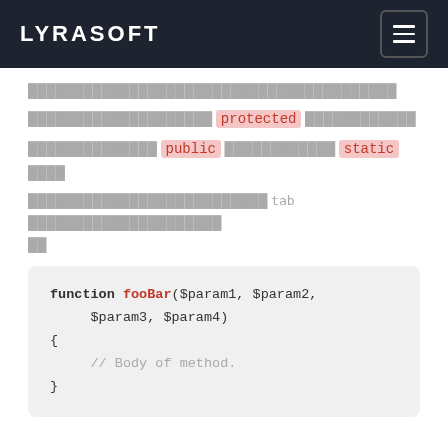LYRASOFT
████████████████████████████████████████
████████████████████ protected ████████████
██████████████ public ████████████ static ████
██████████████████████████ tab █████████████████████